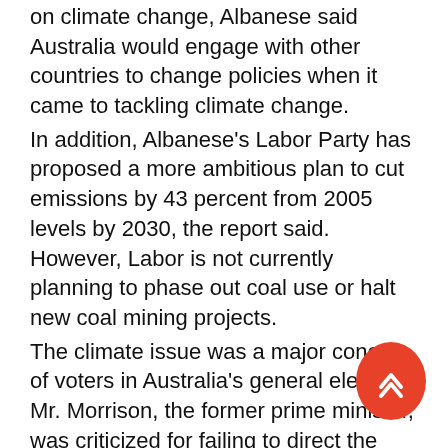on climate change, Albanese said Australia would engage with other countries to change policies when it came to tackling climate change.
In addition, Albanese's Labor Party has proposed a more ambitious plan to cut emissions by 43 percent from 2005 levels by 2030, the report said. However, Labor is not currently planning to phase out coal use or halt new coal mining projects.
The climate issue was a major concern of voters in Australia's general election. Mr. Morrison, the former prime minister, was criticized for failing to direct the response to repeated bushfires in 2019 and 2020.
SBS has reported that According to the latest Climate Change Performance Index of 64 countries released at the 2021 United Nations Climate Change Conference (COP26), Australia's climate policy ranks at the bottom of all countries, and is one of the world's worst performers in